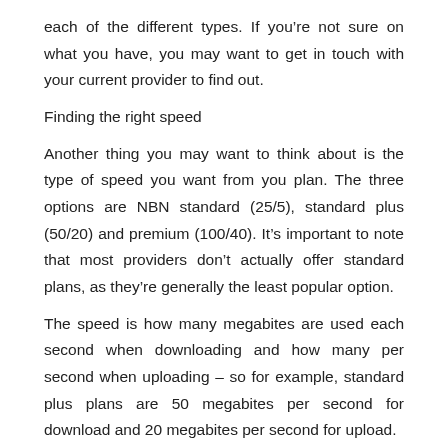each of the different types. If you’re not sure on what you have, you may want to get in touch with your current provider to find out.
Finding the right speed
Another thing you may want to think about is the type of speed you want from you plan. The three options are NBN standard (25/5), standard plus (50/20) and premium (100/40). It’s important to note that most providers don’t actually offer standard plans, as they’re generally the least popular option.
The speed is how many megabites are used each second when downloading and how many per second when uploading – so for example, standard plus plans are 50 megabites per second for download and 20 megabites per second for upload.